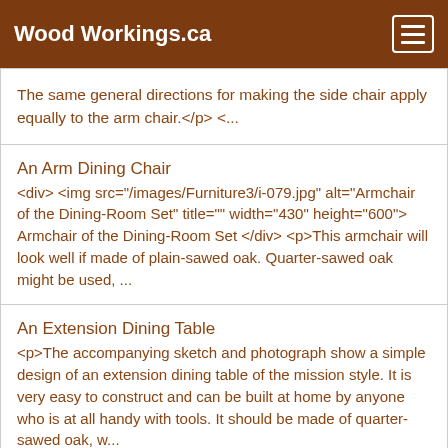Wood Workings.ca
The same general directions for making the side chair apply equally to the arm chair.</p> <...
An Arm Dining Chair
<div> <img src="/images/Furniture3/i-079.jpg" alt="Armchair of the Dining-Room Set" title="" width="430" height="600"> Armchair of the Dining-Room Set </div> <p>This armchair will look well if made of plain-sawed oak. Quarter-sawed oak might be used, ...
An Extension Dining Table
<p>The accompanying sketch and photograph show a simple design of an extension dining table of the mission style. It is very easy to construct and can be built at home by anyone who is at all handy with tools. It should be made of quarter-sawed oak, w...